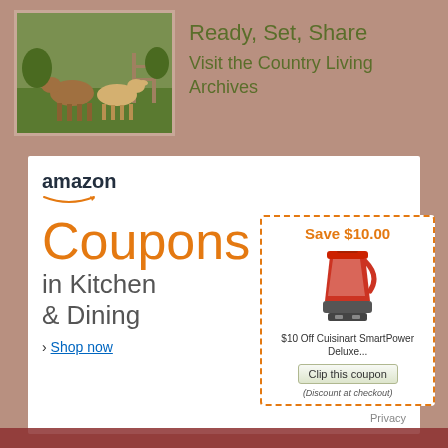[Figure (photo): Photo of two goats (brown and tan) in a farm field with green grass and fence in background]
Ready, Set, Share
Visit the Country Living Archives
[Figure (screenshot): Amazon advertisement banner showing Coupons in Kitchen & Dining with a Save $10.00 coupon for Cuisinart SmartPower Deluxe blender and a Shop now link. Includes Clip this coupon button and (Discount at checkout) note.]